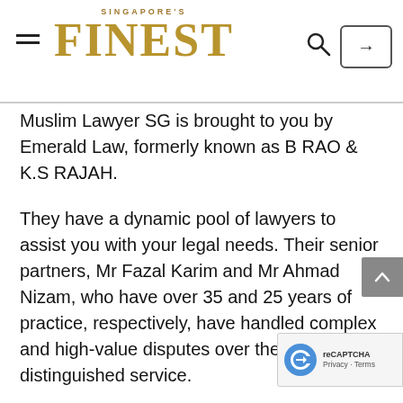SINGAPORE'S FINEST
Muslim Lawyer SG is brought to you by Emerald Law, formerly known as B RAO & K.S RAJAH.
They have a dynamic pool of lawyers to assist you with your legal needs. Their senior partners, Mr Fazal Karim and Mr Ahmad Nizam, who have over 35 and 25 years of practice, respectively, have handled complex and high-value disputes over their years of distinguished service.
In addition, they have a team of Syariah practitioners, including their Managing Partner Mohammad Rizuan, who has handled numerous complex cases in both the Syariah Court and at the